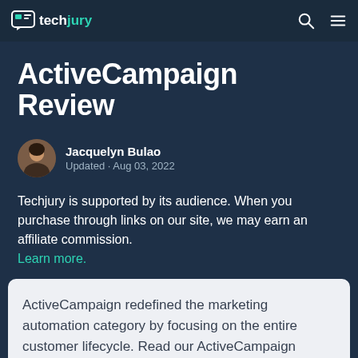techjury
ActiveCampaign Review
Jacquelyn Bulao
Updated · Aug 03, 2022
Techjury is supported by its audience. When you purchase through links on our site, we may earn an affiliate commission. Learn more.
ActiveCampaign redefined the marketing automation category by focusing on the entire customer lifecycle. Read our ActiveCampaign review until the end to find